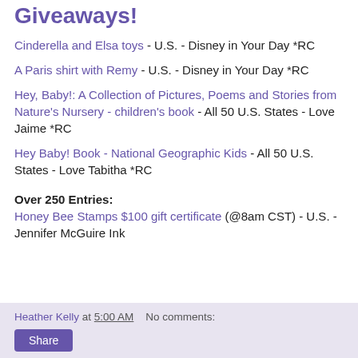Giveaways!
Cinderella and Elsa toys - U.S. - Disney in Your Day *RC
A Paris shirt with Remy - U.S. - Disney in Your Day *RC
Hey, Baby!: A Collection of Pictures, Poems and Stories from Nature's Nursery - children's book - All 50 U.S. States - Love Jaime *RC
Hey Baby! Book - National Geographic Kids - All 50 U.S. States - Love Tabitha *RC
Over 250 Entries:
Honey Bee Stamps $100 gift certificate (@8am CST) - U.S. - Jennifer McGuire Ink
Heather Kelly at 5:00 AM   No comments: